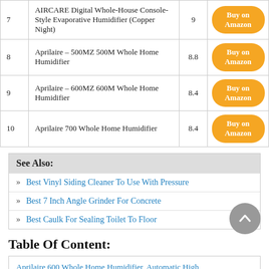| # | Product | Score | Link |
| --- | --- | --- | --- |
| 7 | AIRCARE Digital Whole-House Console-Style Evaporative Humidifier (Copper Night) | 9 | Buy on Amazon |
| 8 | Aprilaire – 500MZ 500M Whole Home Humidifier | 8.8 | Buy on Amazon |
| 9 | Aprilaire – 600MZ 600M Whole Home Humidifier | 8.4 | Buy on Amazon |
| 10 | Aprilaire 700 Whole Home Humidifier | 8.4 | Buy on Amazon |
See Also:
Best Vinyl Siding Cleaner To Use With Pressure
Best 7 Inch Angle Grinder For Concrete
Best Caulk For Sealing Toilet To Floor
Table Of Content:
Aprilaire 600 Whole Home Humidifier, Automatic High